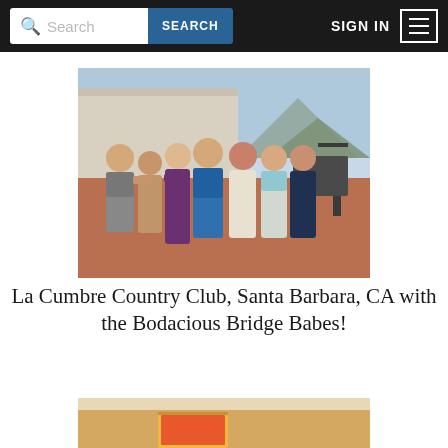Search | SEARCH | SIGN IN
[Figure (photo): Group photo of seven people (six women and one man) posing together on a patio at La Cumbre Country Club, Santa Barbara, CA. Mountains visible in background. Outdoor furniture visible on the right.]
La Cumbre Country Club, Santa Barbara, CA with the Bodacious Bridge Babes!
[Figure (photo): Partial view of a second photo showing an interior room with warm lighting and what appears to be a painting on the wall.]